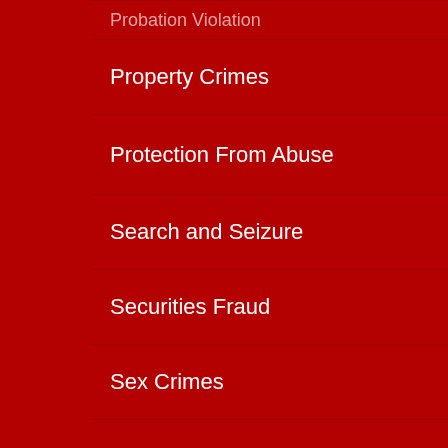Probation Violation
Property Crimes
Protection From Abuse
Search and Seizure
Securities Fraud
Sex Crimes
Sex Offender Registry